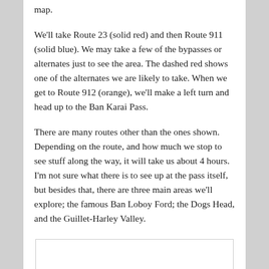map.
We'll take Route 23 (solid red) and then Route 911 (solid blue). We may take a few of the bypasses or alternates just to see the area. The dashed red shows one of the alternates we are likely to take. When we get to Route 912 (orange), we'll make a left turn and head up to the Ban Karai Pass.
There are many routes other than the ones shown. Depending on the route, and how much we stop to see stuff along the way, it will take us about 4 hours. I'm not sure what there is to see up at the pass itself, but besides that, there are three main areas we'll explore; the famous Ban Loboy Ford; the Dogs Head, and the Guillet-Harley Valley.
[Figure (other): Empty white box with border, likely placeholder for a map image]